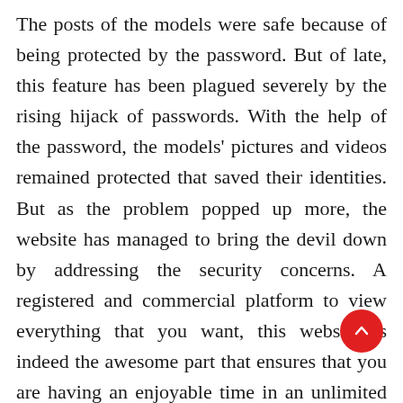The posts of the models were safe because of being protected by the password. But of late, this feature has been plagued severely by the rising hijack of passwords. With the help of the password, the models' pictures and videos remained protected that saved their identities. But as the problem popped up more, the website has managed to bring the devil down by addressing the security concerns. A registered and commercial platform to view everything that you want, this website is indeed the awesome part that ensures that you are having an enjoyable time in an unlimited way.

So enjoy the things that you will love to watch and that too in...